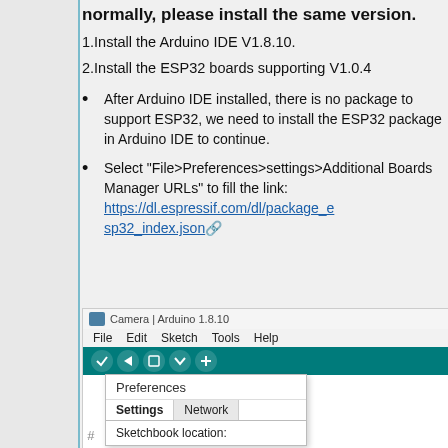normally, please install the same version.
1.Install the Arduino IDE V1.8.10.
2.Install the ESP32 boards supporting V1.0.4
After Arduino IDE installed, there is no package to support ESP32, we need to install the ESP32 package in Arduino IDE to continue.
Select "File>Preferences>settings>Additional Boards Manager URLs" to fill the link: https://dl.espressif.com/dl/package_esp32_index.json
[Figure (screenshot): Arduino IDE 1.8.10 application window showing File menu open with Preferences option selected, and the Preferences dialog showing Settings and Network tabs with Sketchbook location field visible.]